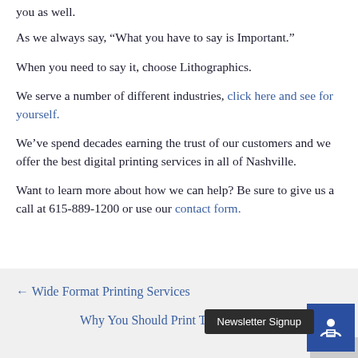you as well.
As we always say, “What you have to say is Important.”
When you need to say it, choose Lithographics.
We serve a number of different industries, click here and see for yourself.
We’ve spend decades earning the trust of our customers and we offer the best digital printing services in all of Nashville.
Want to learn more about how we can help? Be sure to give us a call at 615-889-1200 or use our contact form.
← Wide Format Printing Services   Why You Should Print Tradeshow →   Newsletter Signup